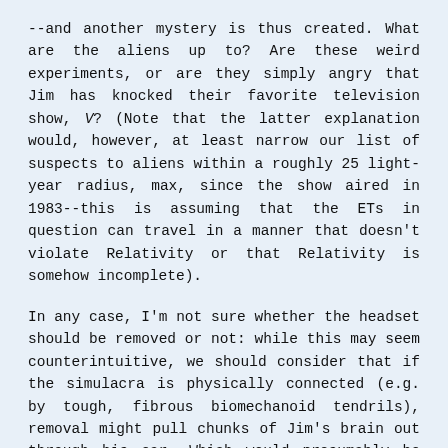--and another mystery is thus created. What are the aliens up to? Are these weird experiments, or are they simply angry that Jim has knocked their favorite television show, V? (Note that the latter explanation would, however, at least narrow our list of suspects to aliens within a roughly 25 light-year radius, max, since the show aired in 1983--this is assuming that the ETs in question can travel in a manner that doesn't violate Relativity or that Relativity is somehow incomplete).
In any case, I'm not sure whether the headset should be removed or not: while this may seem counterintuitive, we should consider that if the simulacra is physically connected (e.g. by tough, fibrous biomechanoid tendrils), removal might pull chunks of Jim's brain out through his ear. Which would presumably be bad. And if the simulacra is connected in a non-physical way--perhaps electrically or even through some "psychic" connection--removal might be psychologically traumatic and lead to homicidal behavior of some sort.
I implore anyone out there who owns any of the X-Files